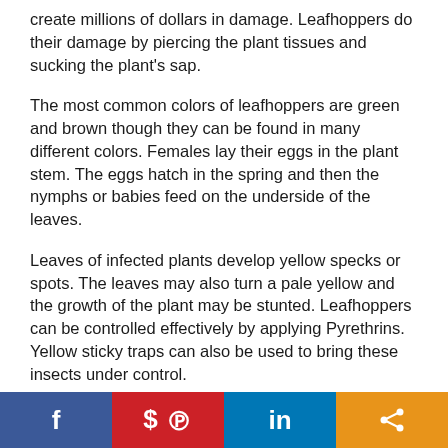create millions of dollars in damage. Leafhoppers do their damage by piercing the plant tissues and sucking the plant's sap.
The most common colors of leafhoppers are green and brown though they can be found in many different colors. Females lay their eggs in the plant stem. The eggs hatch in the spring and then the nymphs or babies feed on the underside of the leaves.
Leaves of infected plants develop yellow specks or spots. The leaves may also turn a pale yellow and the growth of the plant may be stunted. Leafhoppers can be controlled effectively by applying Pyrethrins. Yellow sticky traps can also be used to bring these insects under control.
[Figure (infographic): Social media sharing bar with Facebook, Pinterest, LinkedIn, and share buttons]